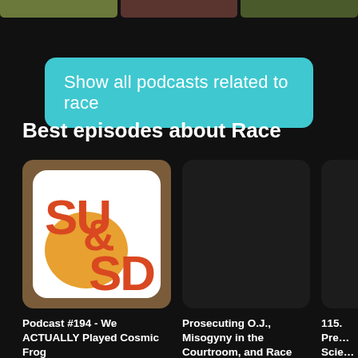[Figure (screenshot): Top thumbnail strip showing three podcast cover images partially visible at the top of the screen]
Show all podcasts related to race
Best episodes about Race
[Figure (illustration): SU & SD podcast logo - orange letters SU & SD on a white background with tan/orange circular shape]
Podcast #194 - We ACTUALLY Played Cosmic Frog
Shut Up & Sit Down
Prosecuting O.J., Misogyny in the Courtroom, and Race and Justice,
The Megyn Kelly Show
115. Pre… Scie… Inta…
Some